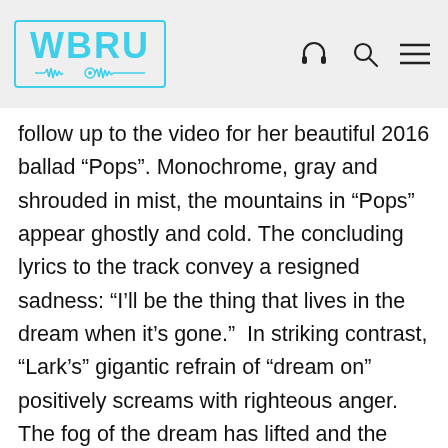WBRU
follow up to the video for her beautiful 2016 ballad “Pops”. Monochrome, gray and shrouded in mist, the mountains in “Pops” appear ghostly and cold. The concluding lyrics to the track convey a resigned sadness: “I’ll be the thing that lives in the dream when it’s gone.”  In striking contrast, “Lark’s” gigantic refrain of “dream on” positively screams with righteous anger. The fog of the dream has lifted and the mountains are painted in rich and vivid colors. Now, Olsen’s fierce presence feels far, far from ghostly, rather animalistic and teeming with life.